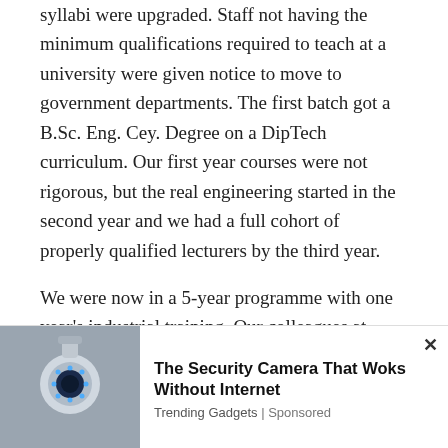syllabi were upgraded. Staff not having the minimum qualifications required to teach at a university were given notice to move to government departments. The first batch got a B.Sc. Eng. Cey. Degree on a DipTech curriculum. Our first year courses were not rigorous, but the real engineering started in the second year and we had a full cohort of properly qualified lecturers by the third year.
We were now in a 5-year programme with one year's industrial training. Our colleagues at Peradeniya would graduate a year earlier. We asked for the training to be done away with.
[Figure (photo): Advertisement showing a security camera on the left side, with ad text on the right.]
The Security Camera That Woks Without Internet
Trending Gadgets | Sponsored